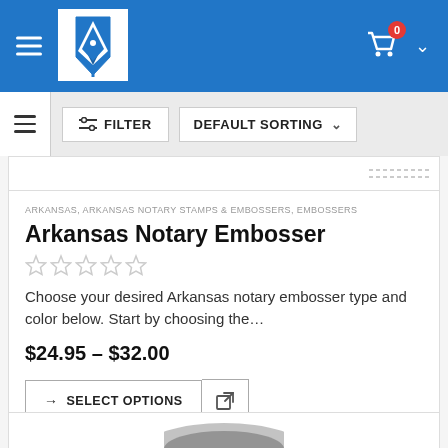[Figure (screenshot): Website header with blue background, pen/nib logo in white box, hamburger menu icon, and shopping cart with badge showing 0]
[Figure (screenshot): Filter bar with filter button and default sorting dropdown]
ARKANSAS, ARKANSAS NOTARY STAMPS & EMBOSSERS, EMBOSSERS
Arkansas Notary Embosser
[Figure (other): Five empty star rating icons]
Choose your desired Arkansas notary embosser type and color below. Start by choosing the…
$24.95 – $32.00
[Figure (screenshot): SELECT OPTIONS button and external link icon button]
[Figure (photo): Partial view of a dark gray embosser product at the bottom of the page]